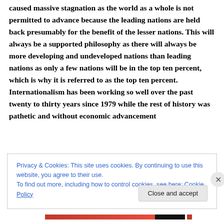caused massive stagnation as the world as a whole is not permitted to advance because the leading nations are held back presumably for the benefit of the lesser nations. This will always be a supported philosophy as there will always be more developing and undeveloped nations than leading nations as only a few nations will be in the top ten percent, which is why it is referred to as the top ten percent. Internationalism has been working so well over the past twenty to thirty years since 1979 while the rest of history was pathetic and without economic advancement
Privacy & Cookies: This site uses cookies. By continuing to use this website, you agree to their use.
To find out more, including how to control cookies, see here: Cookie Policy